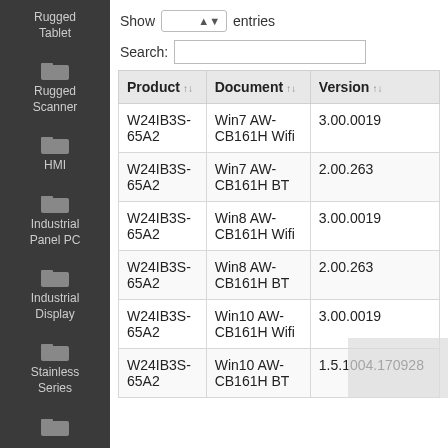Rugged Tablet
Rugged Scanner
HMI
Industrial Panel PC
Industrial Display
Stainless Series
Show entries
Search:
| Product | Document | Version |
| --- | --- | --- |
| W24IB3S-65A2 | Win7 AW-CB161H Wifi | 3.00.0019 |
| W24IB3S-65A2 | Win7 AW-CB161H BT | 2.00.263 |
| W24IB3S-65A2 | Win8 AW-CB161H Wifi | 3.00.0019 |
| W24IB3S-65A2 | Win8 AW-CB161H BT | 2.00.263 |
| W24IB3S-65A2 | Win10 AW-CB161H Wifi | 3.00.0019 |
| W24IB3S-65A2 | Win10 AW-CB161H BT | 1.5.1004.170928 |